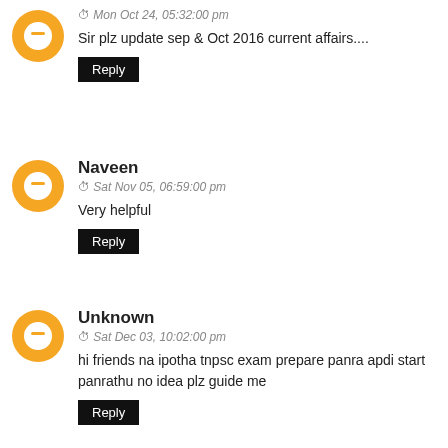Mon Oct 24, 05:32:00 pm
Sir plz update sep & Oct 2016 current affairs....
Reply
Naveen
Sat Nov 05, 06:59:00 pm
Very helpful
Reply
Unknown
Sat Dec 03, 10:02:00 pm
hi friends na ipotha tnpsc exam prepare panra apdi start panrathu no idea plz guide me
Reply
Unknown
Fri Feb 17, 11:35:00 am
itz very useful for my examination point of iew ...thank u sir
Reply